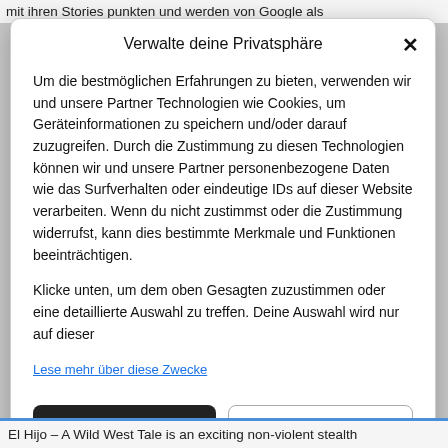mit ihren Stories punkten und werden von Google als
Verwalte deine Privatsphäre
Um die bestmöglichen Erfahrungen zu bieten, verwenden wir und unsere Partner Technologien wie Cookies, um Geräteinformationen zu speichern und/oder darauf zuzugreifen. Durch die Zustimmung zu diesen Technologien können wir und unsere Partner personenbezogene Daten wie das Surfverhalten oder eindeutige IDs auf dieser Website verarbeiten. Wenn du nicht zustimmst oder die Zustimmung widerrufst, kann dies bestimmte Merkmale und Funktionen beeinträchtigen.
Klicke unten, um dem oben Gesagten zuzustimmen oder eine detaillierte Auswahl zu treffen. Deine Auswahl wird nur auf dieser
Lese mehr über diese Zwecke
Cookies akzeptieren
Optionen verwalten
El Hijo – A Wild West Tale is an exciting non-violent stealth